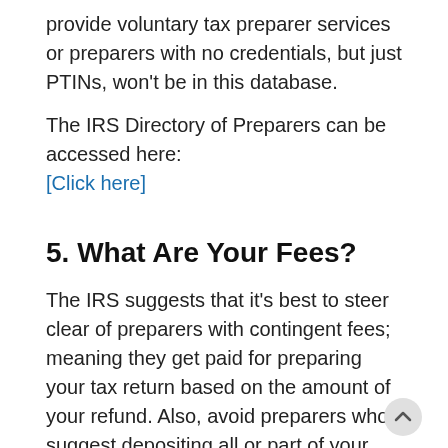provide voluntary tax preparer services or preparers with no credentials, but just PTINs, won't be in this database.
The IRS Directory of Preparers can be accessed here: [Click here]
5. What Are Your Fees?
The IRS suggests that it's best to steer clear of preparers with contingent fees; meaning they get paid for preparing your tax return based on the amount of your refund. Also, avoid preparers who suggest depositing all or part of your refund in their bank account. Don't fall prey to those who guarantee that can fetch you a more sizeable refund than the next tax